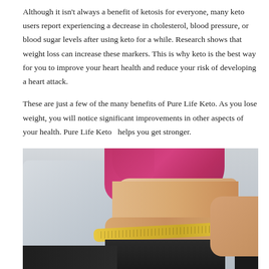Although it isn't always a benefit of ketosis for everyone, many keto users report experiencing a decrease in cholesterol, blood pressure, or blood sugar levels after using keto for a while. Research shows that weight loss can increase these markers. This is why keto is the best way for you to improve your heart health and reduce your risk of developing a heart attack.
These are just a few of the many benefits of Pure Life Keto. As you lose weight, you will notice significant improvements in other aspects of your health. Pure Life Keto  helps you get stronger.
[Figure (photo): A woman in a pink/magenta sports bra and dark pants measuring her waist with a yellow tape measure, photographed from behind/side angle showing her midriff. Blurred gym/room background.]